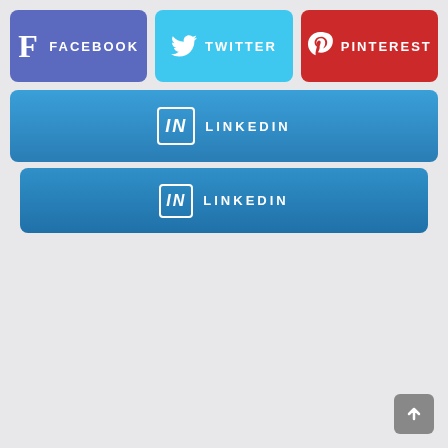[Figure (screenshot): Social media share buttons: Facebook (purple), Twitter (cyan), Pinterest (red) in a row, followed by two LinkedIn (blue) full-width buttons, and a scroll-to-top arrow button at bottom right, on a light gray background.]